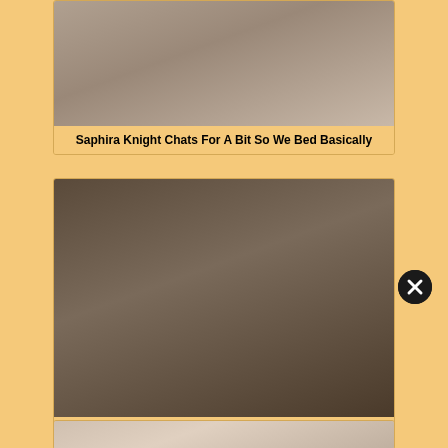[Figure (photo): Partial view of a woman in dark lingerie sitting in a leather chair holding a pink object]
Saphira Knight Chats For A Bit So We Bed Basically
[Figure (photo): Woman with dark hair in an explicit pose on a leather couch]
MILF-Gape-Scene-04
[Figure (photo): Partial view of a woman on a bed with pink headboard]